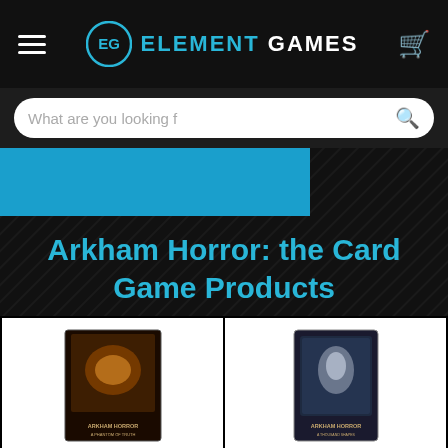Element Games
What are you looking f
Arkham Horror: the Card Game Products
[Figure (photo): Product image of A Phantom of Truth Mythos Pack: Arkham Horror LCG Exp.]
A PHANTOM OF TRUTH MYTHOS PACK: ARKHAM HORROR LCG EXP.
[Figure (photo): Product image of A Thousand Shapes of Horror Mythos Pack: Arkham Horror LCG Exp]
A THOUSAND SHAPES OF HORROR MYTHOS PACK: ARKHAM HORROR LCG EXP